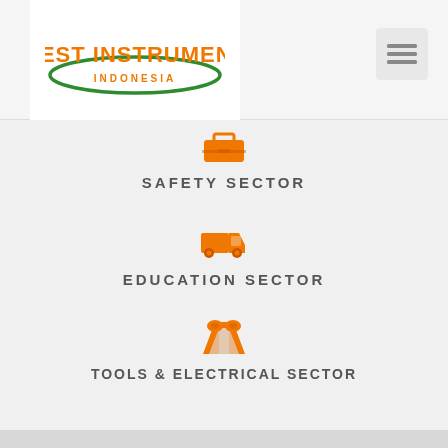[Figure (logo): Best Instrument Indonesia logo with orange text and green oval swoosh]
[Figure (infographic): Hamburger menu icon (three horizontal lines)]
[Figure (infographic): Orange toolbox icon representing Safety Sector]
SAFETY SECTOR
[Figure (infographic): Orange delivery truck icon representing Education Sector]
EDUCATION SECTOR
[Figure (infographic): Orange binoculars icon representing Tools & Electrical Sector]
TOOLS & ELECTRICAL SECTOR